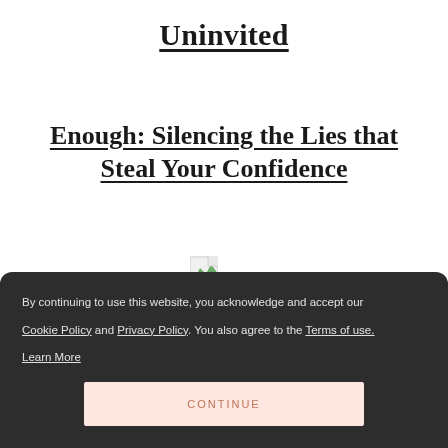Uninvited
Enough: Silencing the Lies that Steal Your Confidence
[Figure (other): Broken/placeholder image icon with small green leaf graphic]
By continuing to use this website, you acknowledge and accept our Cookie Policy and Privacy Policy. You also agree to the Terms of use. Learn More
CONTINUE